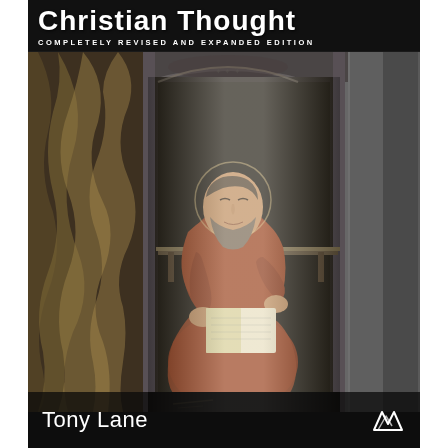Christian Thought
COMPLETELY REVISED AND EXPANDED EDITION
[Figure (illustration): Renaissance painting of a bearded saint or scholar seated in an architectural niche, writing or reading, wearing red and dark robes, with a draped curtain to the left and ornate stone arch framing.]
Tony Lane